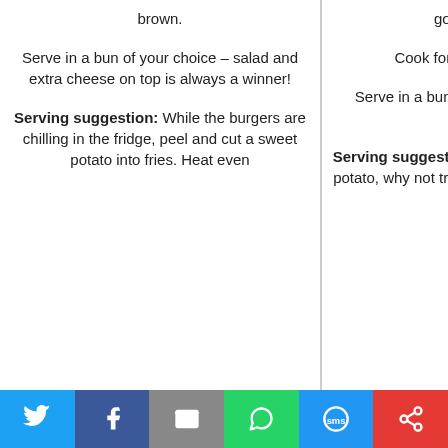brown.
golden on one side).
Spri pe
Serve in a bun of your choice – salad and extra cheese on top is always a winner!
Cook for 5–6 minutes each side.
Ass burg mush bu hallo and
Serve in a bun of your choice with salad and avocado.
Serving suggestion: While the burgers are chilling in the fridge, peel and cut a sweet potato into fries. Heat even
Serving suggestion: As the base for this burger is potato, why not try a carb free side? Such as these courgette fries!
su Serv and